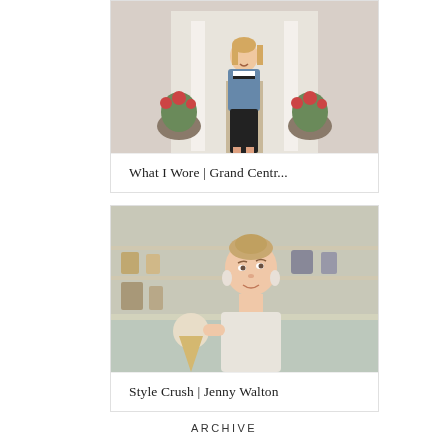[Figure (photo): Woman in denim jacket and striped shirt standing in front of a building with potted plants and white columns]
What I Wore | Grand Centr...
[Figure (photo): Woman with updo hairstyle and statement earrings holding an ice cream cone in front of a shop display]
Style Crush | Jenny Walton
ARCHIVE